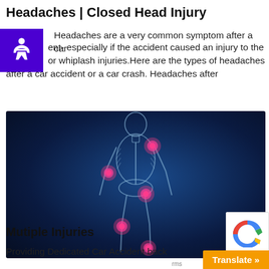Headaches | Closed Head Injury
Headaches are a very common symptom after a car accident- especially if the accident caused an injury to the or whiplash injuries.Here are the types of headaches after a car accident or a car crash. Headaches after
[Figure (illustration): Medical illustration of a human skeleton on a dark blue background with glowing pink/red spots indicating areas of pain on the body — at the shoulder, left arm, hip/pelvis, left knee, and lower leg/ankle area.]
Mutiple Injuries
Providing Dedicated Car Accident back